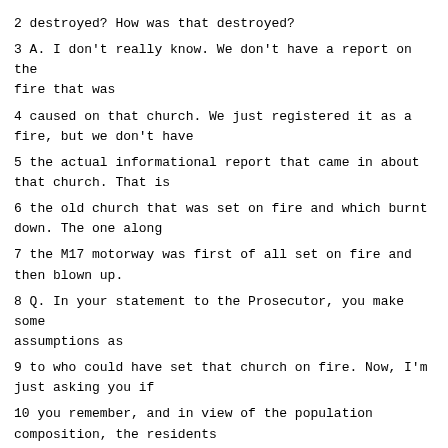2 destroyed? How was that destroyed?
3 A. I don't really know. We don't have a report on the fire that was
4 caused on that church. We just registered it as a fire, but we don't have
5 the actual informational report that came in about that church. That is
6 the old church that was set on fire and which burnt down. The one along
7 the M17 motorway was first of all set on fire and then blown up.
8 Q. In your statement to the Prosecutor, you make some assumptions as
9 to who could have set that church on fire. Now, I'm just asking you if
10 you remember, and in view of the population composition, the residents
11 living near the church, who would that be?
12 A. Yes. I think I gave my assumptions. However, I have to say that